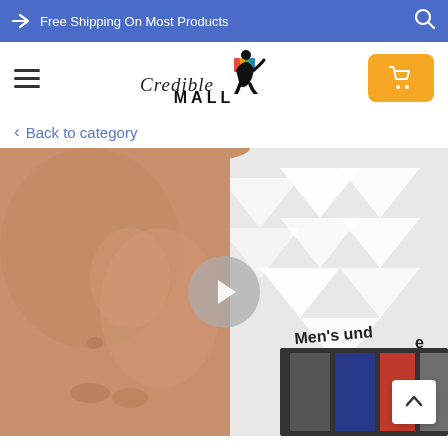Free Shipping On Most Products
[Figure (logo): Credible Mall logo with colorful silhouette figure and stylized text]
< Back to category
[Figure (photo): Product page photo showing a shirtless male model with men's underwear products visible in the background, with a video play button overlay and 'Men's und...' text on the product packaging]